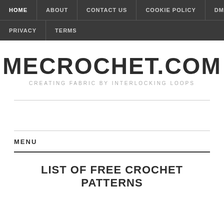HOME  ABOUT  CONTACT US  COOKIE POLICY  DMCA  PRIVACY  TERMS
MECROCHET.COM
CREATING FABRIC BY INTERLOCKING LOOPS
MENU
LIST OF FREE CROCHET PATTERNS